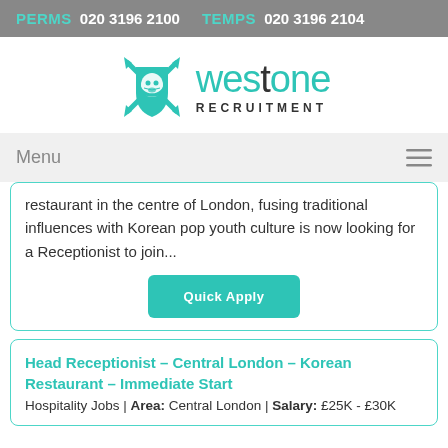PERMS 020 3196 2100  TEMPS 020 3196 2104
[Figure (logo): West One Recruitment logo with teal lion shield and text 'westone RECRUITMENT']
Menu
restaurant in the centre of London, fusing traditional influences with Korean pop youth culture is now looking for a Receptionist to join...
Quick Apply
Head Receptionist – Central London – Korean Restaurant – Immediate Start
Hospitality Jobs | Area: Central London | Salary: £25K - £30K